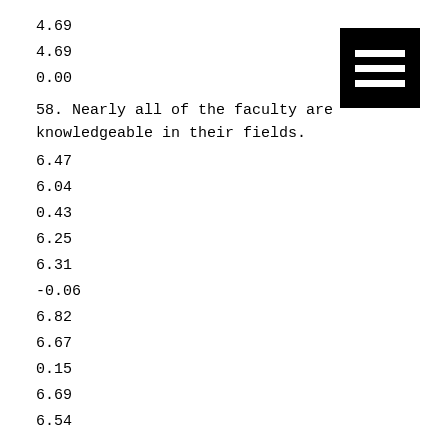4.69
4.69
0.00
58. Nearly all of the faculty are knowledgeable in their fields.
6.47
6.04
0.43
6.25
6.31
-0.06
6.82
6.67
0.15
6.69
6.54
[Figure (other): Black square icon with three horizontal white bars (hamburger/menu icon)]